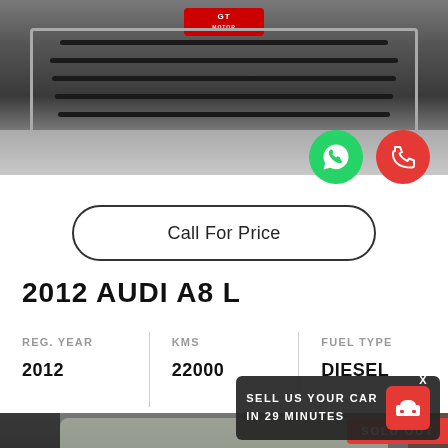[Figure (photo): Front grille close-up of an Audi A8 L car in silver/grey color with dealer logo badge visible]
Call For Price
2012 AUDI A8 L
| REG. YEAR | KMS | FUEL TYPE |
| --- | --- | --- |
| 2012 | 22000 | DIESEL |
[Figure (photo): Front view of an Audi A8 L car in a showroom or garage setting, with SOLD OUT badge and a sell-your-car prompt]
SOLD OUT
SELL US YOUR CAR IN 29 MINUTES